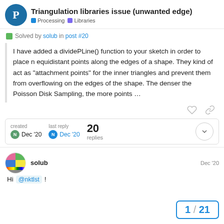Triangulation libraries issue (unwanted edge) — Processing | Libraries
Solved by solub in post #20
I have added a dividePLine() function to your sketch in order to place n equidistant points along the edges of a shape. They kind of act as "attachment points" for the inner triangles and prevent them from overflowing on the edges of the shape. The denser the Poisson Disk Sampling, the more points …
created Dec '20  last reply Dec '20  20 replies
solub  Dec '20
Hi @nktlst !
1 / 21